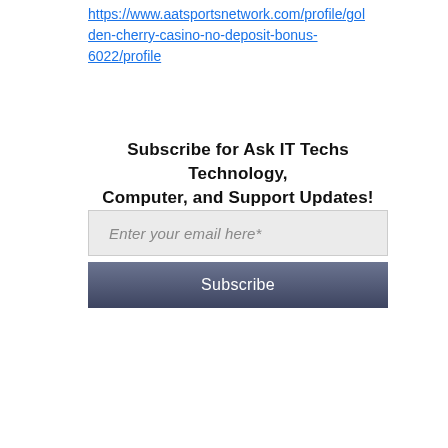https://www.aatsportsnetwork.com/profile/golden-cherry-casino-no-deposit-bonus-6022/profile
Subscribe for Ask IT Techs Technology, Computer, and Support Updates!
Enter your email here*
Subscribe